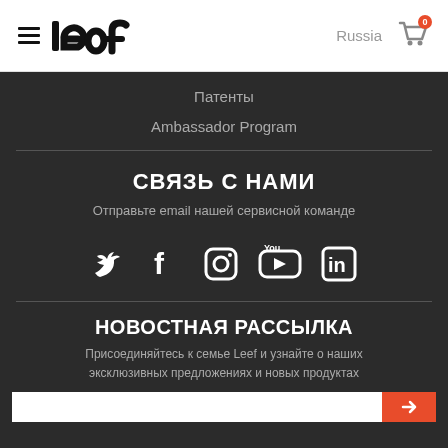Leef — Russia — Cart (0)
Патенты
Ambassador Program
СВЯЗЬ С НАМИ
Отправьте email нашей сервисной команде
[Figure (infographic): Social media icons: Twitter, Facebook, Instagram, YouTube, LinkedIn]
НОВОСТНАЯ РАССЫЛКА
Присоединяйтесь к семье Leef и узнайте о наших эксклюзивных предложениях и новых продуктах